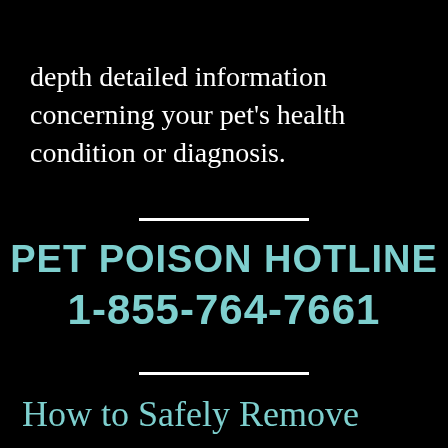depth detailed information concerning your pet's health condition or diagnosis.
PET POISON HOTLINE
1-855-764-7661
How to Safely Remove